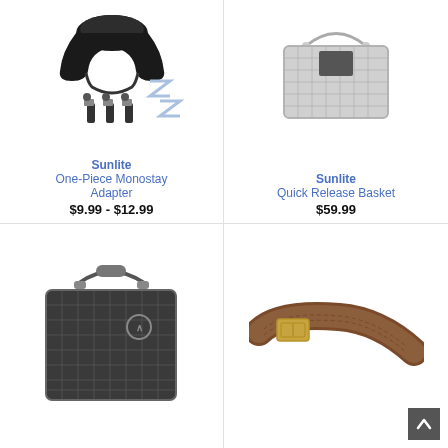[Figure (photo): Sunlite One-Piece Monostay Adapter product image showing a black handlebar clamp, bolts, nuts, and Z-shaped brackets]
Sunlite One-Piece Monostay Adapter
$9.99 - $12.99
[Figure (photo): Sunlite Quick Release Basket product image showing a silver wire mesh basket with handle]
Sunlite Quick Release Basket
$59.99
[Figure (photo): Dark wire mesh front bicycle basket with handle]
[Figure (photo): Brown leather belt with gold buckle]